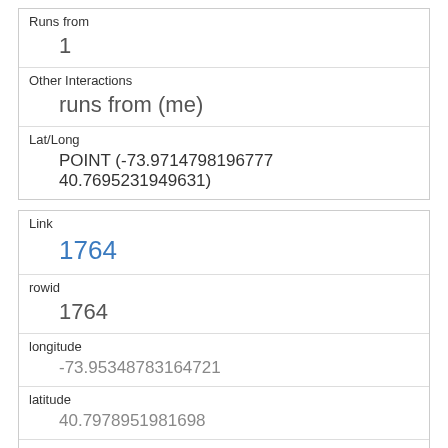| Field | Value |
| --- | --- |
| Runs from | 1 |
| Other Interactions | runs from (me) |
| Lat/Long | POINT (-73.9714798196777 40.7695231949631) |
| Field | Value |
| --- | --- |
| Link | 1764 |
| rowid | 1764 |
| longitude | -73.95348783164721 |
| latitude | 40.79789519816​98 |
| Unique Squirrel ID | 41F-PM-1019-01 |
| Hectare | 41F |
| Shift | PM |